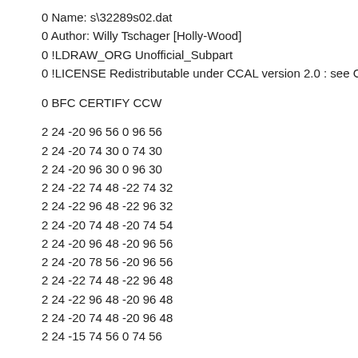0 Name: s\32289s02.dat
0 Author: Willy Tschager [Holly-Wood]
0 !LDRAW_ORG Unofficial_Subpart
0 !LICENSE Redistributable under CCAL version 2.0 : see CAreadm
0 BFC CERTIFY CCW
2 24 -20 96 56 0 96 56
2 24 -20 74 30 0 74 30
2 24 -20 96 30 0 96 30
2 24 -22 74 48 -22 74 32
2 24 -22 96 48 -22 96 32
2 24 -20 74 48 -20 74 54
2 24 -20 96 48 -20 96 56
2 24 -20 78 56 -20 96 56
2 24 -22 74 48 -22 96 48
2 24 -22 96 48 -20 96 48
2 24 -20 74 48 -20 96 48
2 24 -15 74 56 0 74 56
4 16 -13 96 14.85 0 96 30 0 96 -24 -13 96 -14.85
4 16 -26 96 60 -20 96 56 -20 96 48 -22 96 48
4 16 -20 74 30 0 74 30 0 96 30 -20 96 30